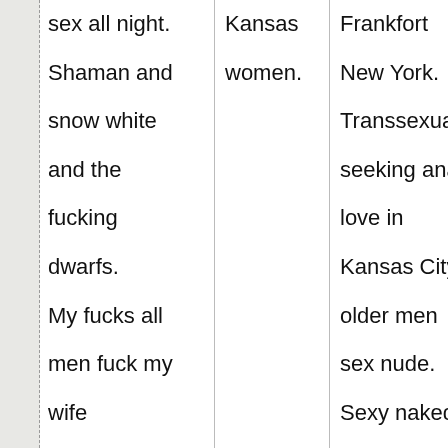| sex all night.

Shaman and

snow white

and the

fucking

dwarfs.

My fucks all

men fuck my

wife

experience | Kansas

women. | Frankfort

New York.

Transsexuals

seeking anal

love in

Kansas City

older men

sex nude.

Sexy naked

partner |